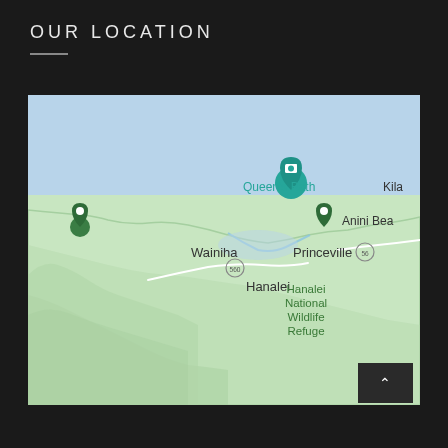OUR LOCATION
[Figure (map): Google Maps screenshot showing the north shore of Kauai, Hawaii. Visible locations include Wainiha, Queen's Bath (with teal camera pin), Princeville, Hanalei, Hanalei National Wildlife Refuge, Anini Beach (partially visible), and Kilauea (partially visible). Green location pins appear near Wainiha and Anini Beach. Road 560 and Road 56 are labeled. The ocean (Pacific) appears as light blue at the top, with green terrain below.]